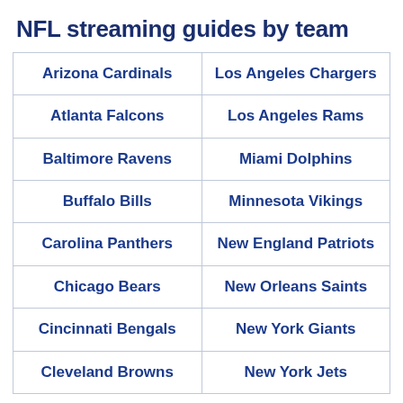NFL streaming guides by team
| Arizona Cardinals | Los Angeles Chargers |
| Atlanta Falcons | Los Angeles Rams |
| Baltimore Ravens | Miami Dolphins |
| Buffalo Bills | Minnesota Vikings |
| Carolina Panthers | New England Patriots |
| Chicago Bears | New Orleans Saints |
| Cincinnati Bengals | New York Giants |
| Cleveland Browns | New York Jets |